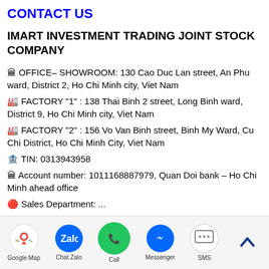CONTACT US
IMART INVESTMENT TRADING JOINT STOCK COMPANY
🏛 OFFICE– SHOWROOM: 130 Cao Duc Lan street, An Phu ward, District 2, Ho Chi Minh city, Viet Nam
🏭 FACTORY "1" : 138 Thai Binh 2 street, Long Binh ward, District 9, Ho Chi Minh city, Viet Nam
🏭 FACTORY "2" : 156 Vo Van Binh street, Binh My Ward, Cu Chi District, Ho Chi Minh City, Viet Nam
🏦 TIN: 0313943958
🏛 Account number: 1011168887979, Quan Doi bank – Ho Chi Minh ahead office
🔴 Sales Department: ...
Google Map | Chat Zalo | Call | Messenger | SMS | ↑